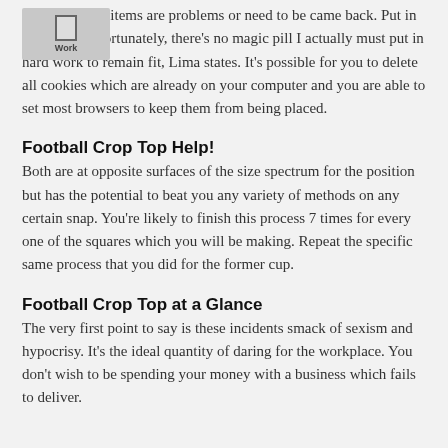[Figure (other): Placeholder image overlay in top-left corner with icon and label 'Work']
accountable if items are problems or need to be came back. Put in the Work Unfortunately, there's no magic pill I actually must put in hard work to remain fit, Lima states. It's possible for you to delete all cookies which are already on your computer and you are able to set most browsers to keep them from being placed.
Football Crop Top Help!
Both are at opposite surfaces of the size spectrum for the position but has the potential to beat you any variety of methods on any certain snap. You're likely to finish this process 7 times for every one of the squares which you will be making. Repeat the specific same process that you did for the former cup.
Football Crop Top at a Glance
The very first point to say is these incidents smack of sexism and hypocrisy. It's the ideal quantity of daring for the workplace. You don't wish to be spending your money with a business which fails to deliver.